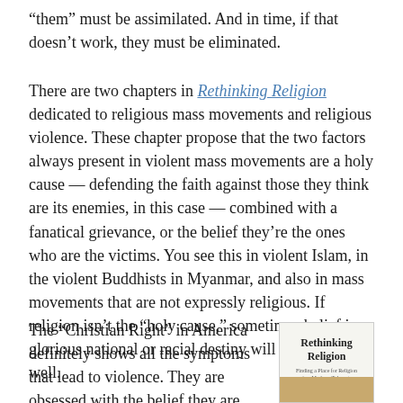“them” must be assimilated. And in time, if that doesn’t work, they must be eliminated.
There are two chapters in Rethinking Religion dedicated to religious mass movements and religious violence. These chapter propose that the two factors always present in violent mass movements are a holy cause — defending the faith against those they think are its enemies, in this case — combined with a fanatical grievance, or the belief they’re the ones who are the victims. You see this in violent Islam, in the violent Buddhists in Myanmar, and also in mass movements that are not expressly religious. If religion isn’t the “holy cause,” sometimes belief in a glorious national or racial destiny will do nicely as well.
The “Christian Right” in America definitely shows all the symptoms that lead to violence. They are obsessed with the belief they are being persecuted
[Figure (illustration): Book cover for 'Rethinking Religion' with title text and decorative stripe at bottom]